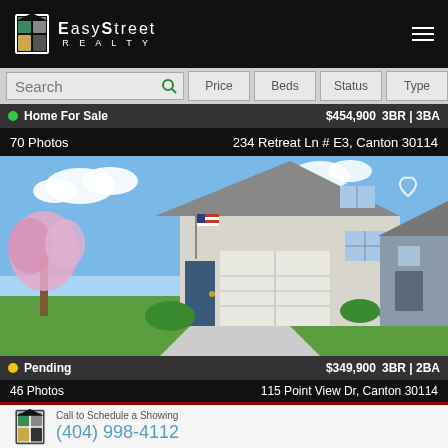[Figure (logo): EasyStreet Realty logo with house/door icon in black header bar]
Search  Price  Beds  Status  Type
Home For Sale  $454,900  3BR | 3BA
70 Photos  234 Retreat Ln # E3, Canton 30114
[Figure (photo): Suburban home exterior with gray siding, two-car garage, American flag, pink flowering trees, green lawn]
Pending  $349,900  3BR | 2BA
46 Photos  115 Point View Dr, Canton 30114
Call to Schedule a Showing
(404) 998-4112